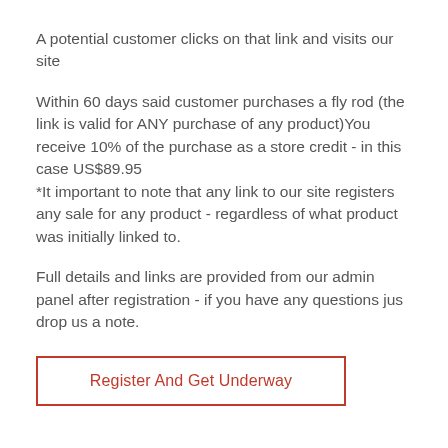A potential customer clicks on that link and visits our site
Within 60 days said customer purchases a fly rod (the link is valid for ANY purchase of any product)You receive 10% of the purchase as a store credit - in this case US$89.95
*It important to note that any link to our site registers any sale for any product - regardless of what product was initially linked to.
Full details and links are provided from our admin panel after registration - if you have any questions jus drop us a note.
Register And Get Underway